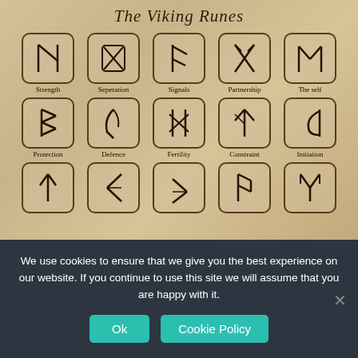[Figure (illustration): Hand-drawn illustration on aged parchment-style background showing Viking runes arranged in a grid. Title reads 'The Viking Runes'. Three rows of rune symbols are shown, each in a rounded rectangle box, with labels below: Row 1: Strength, Seperation, Signals, Partnership, The self. Row 2: Protection, Defence, Fertility, Constraint, Initiation. Row 3 (partial): five more runes visible but labels cut off.]
We use cookies to ensure that we give you the best experience on our website. If you continue to use this site we will assume that you are happy with it.